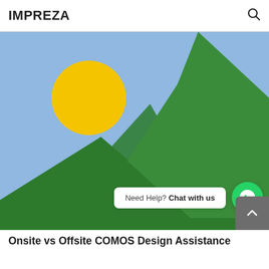IMPREZA
[Figure (illustration): Flat design placeholder image showing a blue sky background with a yellow sun circle and two green mountains/triangles. Overlaid with a WhatsApp chat widget saying 'Need Help? Chat with us' and a green WhatsApp icon button. A grey scroll-to-top button is in the bottom-right corner.]
Onsite vs Offsite COMOS Design Assistance